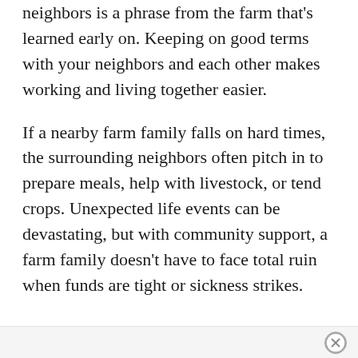neighbors is a phrase from the farm that's learned early on. Keeping on good terms with your neighbors and each other makes working and living together easier.
If a nearby farm family falls on hard times, the surrounding neighbors often pitch in to prepare meals, help with livestock, or tend crops. Unexpected life events can be devastating, but with community support, a farm family doesn't have to face total ruin when funds are tight or sickness strikes.